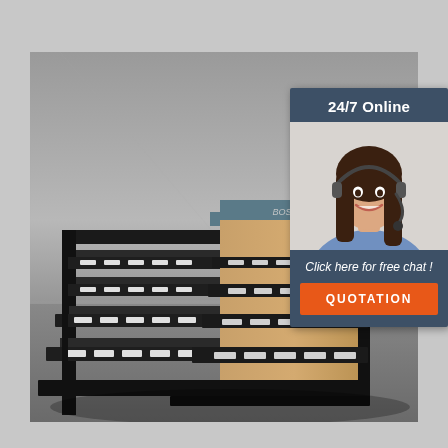[Figure (illustration): 3D rendered retail shelving unit with black metal frame and wooden panel inserts, multiple shelves with label holders, displayed in a room with white brick wall and gray concrete floor]
[Figure (infographic): 24/7 Online customer service overlay card with dark blue-gray background, showing a smiling female customer service agent wearing a headset, with text 'Click here for free chat!' and an orange QUOTATION button]